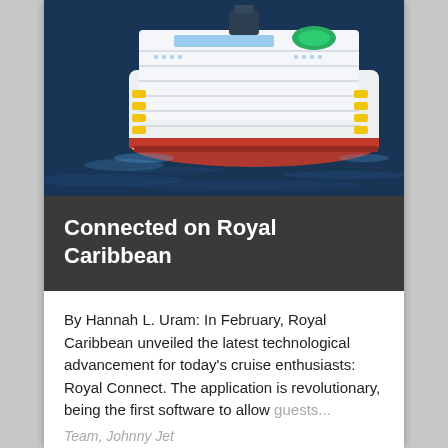[Figure (photo): Aerial view of a large Royal Caribbean cruise ship sailing on dark blue ocean water, seen from above at an angle. The ship is white with yellow lifeboats and a green circular feature on the top deck.]
Connected on Royal Caribbean
By Hannah L. Uram: In February, Royal Caribbean unveiled the latest technological advancement for today's cruise enthusiasts: Royal Connect. The application is revolutionary, being the first software to allow guests...
Team, Johnny Jet